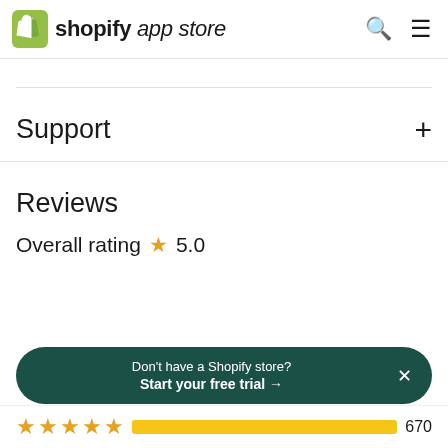shopify app store
Support
Reviews
Overall rating ★ 5.0
Don't have a Shopify store? Start your free trial →
670